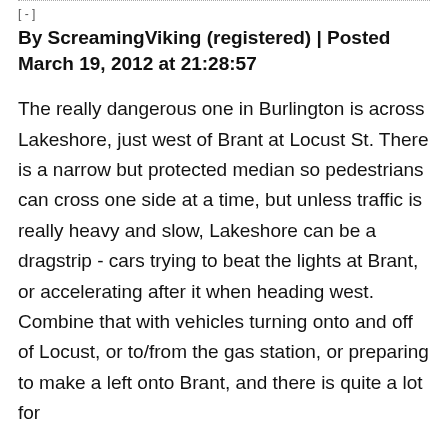[-]
By ScreamingViking (registered) | Posted March 19, 2012 at 21:28:57
The really dangerous one in Burlington is across Lakeshore, just west of Brant at Locust St. There is a narrow but protected median so pedestrians can cross one side at a time, but unless traffic is really heavy and slow, Lakeshore can be a dragstrip - cars trying to beat the lights at Brant, or accelerating after it when heading west. Combine that with vehicles turning onto and off of Locust, or to/from the gas station, or preparing to make a left onto Brant, and there is quite a lot for